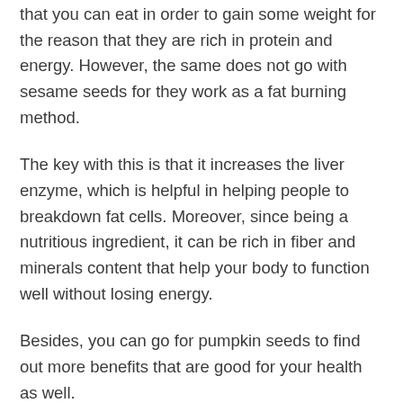that you can eat in order to gain some weight for the reason that they are rich in protein and energy. However, the same does not go with sesame seeds for they work as a fat burning method.
The key with this is that it increases the liver enzyme, which is helpful in helping people to breakdown fat cells. Moreover, since being a nutritious ingredient, it can be rich in fiber and minerals content that help your body to function well without losing energy.
Besides, you can go for pumpkin seeds to find out more benefits that are good for your health as well.